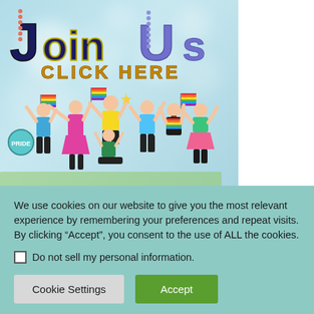[Figure (illustration): Colorful illustration of diverse people celebrating Pride, holding rainbow flags, on a light blue bokeh background. Large decorative text reads 'Join Us' and 'CLICK HERE'.]
We use cookies on our website to give you the most relevant experience by remembering your preferences and repeat visits. By clicking “Accept”, you consent to the use of ALL the cookies.
Do not sell my personal information.
Cookie Settings
Accept